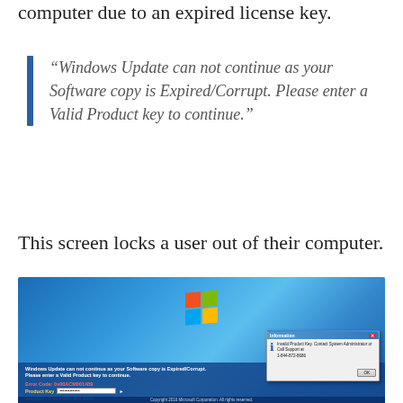computer due to an expired license key.
“Windows Update can not continue as your Software copy is Expired/Corrupt. Please enter a Valid Product key to continue.”
This screen locks a user out of their computer.
[Figure (screenshot): Screenshot of a fake Windows 7 lock screen showing a Windows logo, error message 'Windows Update can not continue as your Software copy is Expired/Corrupt. Please enter a Valid Product key to continue.', Error Code 0x00ACM001489, a Product Key input field, Support Call 1-844-872-8686, and a popup dialog titled 'Information' with message 'Invalid Product Key. Contact System Administrator or Call Support at 1-844-872-8686' and an OK button. Copyright 2016 Microsoft Corporation. All rights reserved.]